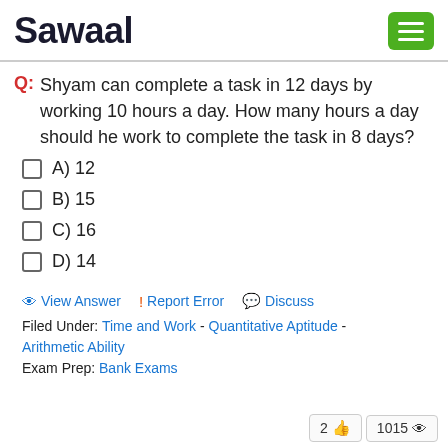Sawaal
Q: Shyam can complete a task in 12 days by working 10 hours a day. How many hours a day should he work to complete the task in 8 days?
A) 12
B) 15
C) 16
D) 14
View Answer | Report Error | Discuss
Filed Under: Time and Work - Quantitative Aptitude - Arithmetic Ability
Exam Prep: Bank Exams
2 👍  1015 👁